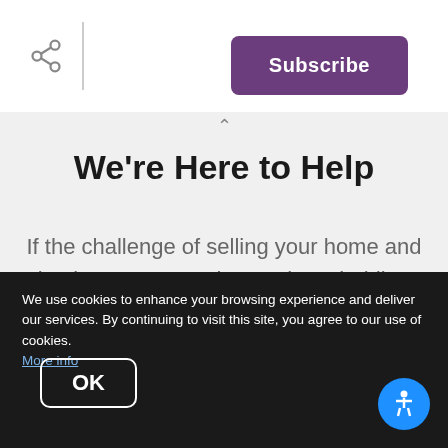[Figure (other): Share icon and vertical divider in top navigation bar]
Subscribe
[Figure (other): Small decorative icon at top of gray content area]
We're Here to Help
If the challenge of selling your home and buying a new one is one that's holding you back from listing your home, let's talk about how we can help make the transition as smooth as possible
We use cookies to enhance your browsing experience and deliver our services. By continuing to visit this site, you agree to our use of cookies. More info
OK
[Figure (other): Blue circular accessibility icon button]